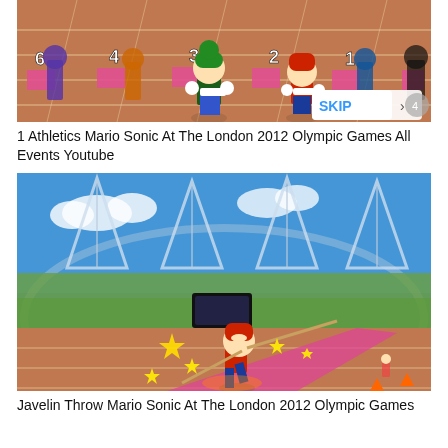[Figure (screenshot): Screenshot from Mario & Sonic at the London 2012 Olympic Games showing animated characters (including Luigi and Mario) standing on an athletics track with lane numbers 1-6 visible. A pink SKIP button is visible in the bottom right corner.]
1 Athletics Mario Sonic At The London 2012 Olympic Games All Events Youtube
[Figure (screenshot): Screenshot from Mario & Sonic at the London 2012 Olympic Games showing Mario throwing a javelin on an athletics track inside a stadium with yellow stars and sparkle effects. The Olympic Stadium is visible in the background with triangular roof supports.]
Javelin Throw Mario Sonic At The London 2012 Olympic Games